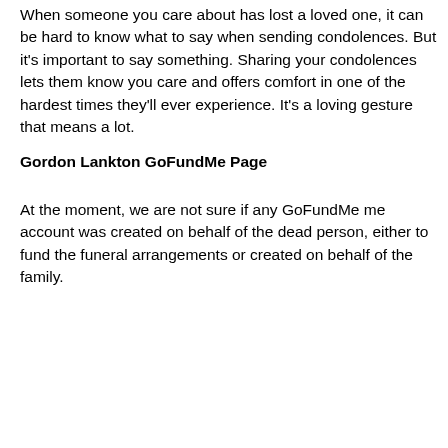When someone you care about has lost a loved one, it can be hard to know what to say when sending condolences. But it's important to say something. Sharing your condolences lets them know you care and offers comfort in one of the hardest times they'll ever experience. It's a loving gesture that means a lot.
Gordon Lankton GoFundMe Page
At the moment, we are not sure if any GoFundMe me account was created on behalf of the dead person, either to fund the funeral arrangements or created on behalf of the family.